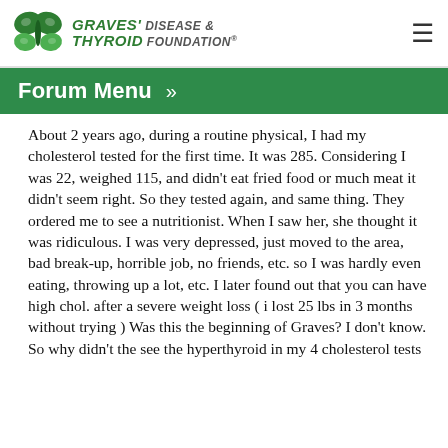Graves' Disease & Thyroid Foundation
Forum Menu »
About 2 years ago, during a routine physical, I had my cholesterol tested for the first time. It was 285. Considering I was 22, weighed 115, and didn't eat fried food or much meat it didn't seem right. So they tested again, and same thing. They ordered me to see a nutritionist. When I saw her, she thought it was ridiculous. I was very depressed, just moved to the area, bad break-up, horrible job, no friends, etc. so I was hardly even eating, throwing up a lot, etc. I later found out that you can have high chol. after a severe weight loss ( i lost 25 lbs in 3 months without trying ) Was this the beginning of Graves? I don't know. So why didn't the see the hyperthyroid in my 4 cholesterol tests